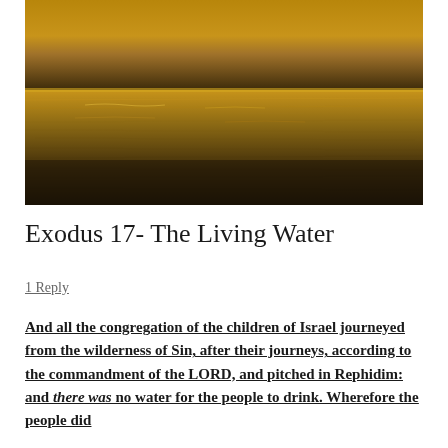[Figure (photo): Ocean/sea surface at sunset or dusk, golden-brown tones with rippling water, horizon visible in upper portion]
Exodus 17- The Living Water
1 Reply
And all the congregation of the children of Israel journeyed from the wilderness of Sin, after their journeys, according to the commandment of the LORD, and pitched in Rephidim: and there was no water for the people to drink. Wherefore the people did